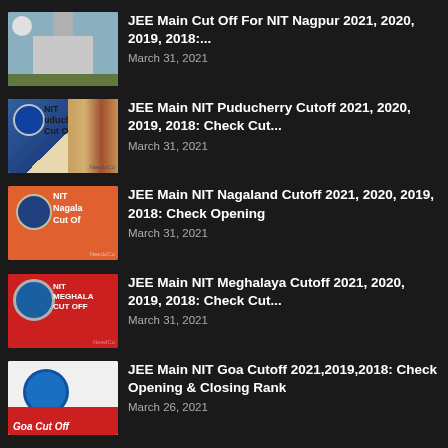JEE Main Cut Off For NIT Nagpur 2021, 2020, 2019, 2018:...
March 31, 2021
JEE Main NIT Puducherry Cutoff 2021, 2020, 2019, 2018: Check Cut...
March 31, 2021
JEE Main NIT Nagaland Cutoff 2021, 2020, 2019, 2018: Check Opening
March 31, 2021
JEE Main NIT Meghalaya Cutoff 2021, 2020, 2019, 2018: Check Cut...
March 31, 2021
JEE Main NIT Goa Cutoff 2021,2019,2018: Check Opening & Closing Rank
March 26, 2021